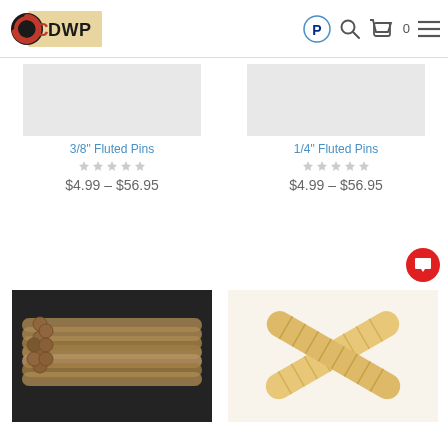CDWP store header with logo, PayPal icon, search icon, cart (0), menu
3/8" Fluted Pins
$4.99 – $56.95
1/4" Fluted Pins
$4.99 – $56.95
[Figure (photo): Bundle of wooden dowel rods/fluted pins on dark background]
[Figure (photo): Two crossed fluted wooden dowel pins on white background]